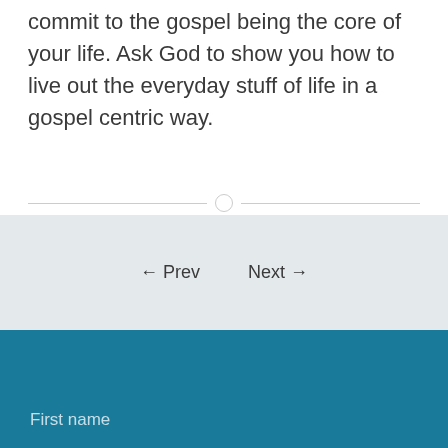commit to the gospel being the core of your life. Ask God to show you how to live out the everyday stuff of life in a gospel centric way.
← Prev   Next →
First name